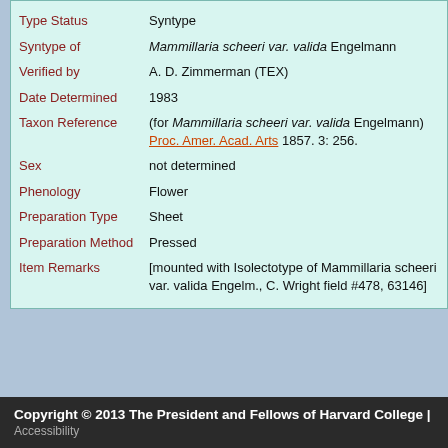| Field | Value |
| --- | --- |
| Type Status | Syntype |
| Syntype of | Mammillaria scheeri var. valida Engelmann |
| Verified by | A. D. Zimmerman (TEX) |
| Date Determined | 1983 |
| Taxon Reference | (for Mammillaria scheeri var. valida Engelmann) Proc. Amer. Acad. Arts 1857. 3: 256. |
| Sex | not determined |
| Phenology | Flower |
| Preparation Type | Sheet |
| Preparation Method | Pressed |
| Item Remarks | [mounted with Isolectotype of Mammillaria scheeri var. valida Engelm., C. Wright field #478, 63146] |
Copyright © 2013 The President and Fellows of Harvard College | Accessibility